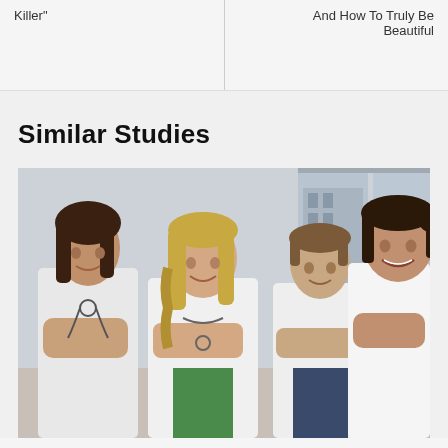Killer"
And How To Truly Be Beautiful
Similar Studies
[Figure (photo): Four smiling medical professionals (doctors/nurses) in white coats standing together in a bright clinical setting with large windows in the background.]